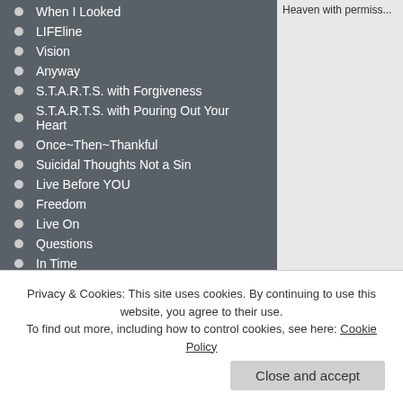When I Looked
LIFEline
Vision
Anyway
S.T.A.R.T.S. with Forgiveness
S.T.A.R.T.S. with Pouring Out Your Heart
Once~Then~Thankful
Suicidal Thoughts Not a Sin
Live Before YOU
Freedom
Live On
Questions
In Time
What If
All You Need
Heaven with permiss...
Privacy & Cookies: This site uses cookies. By continuing to use this website, you agree to their use.
To find out more, including how to control cookies, see here: Cookie Policy
Close and accept